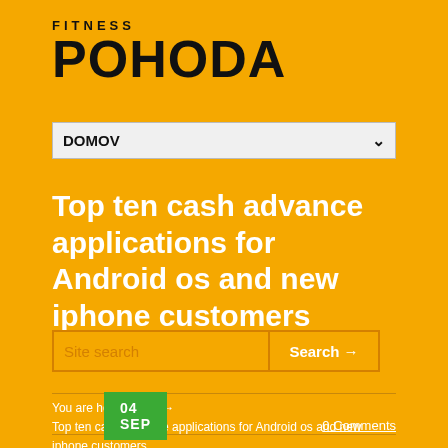FITNESS POHODA
DOMOV
Top ten cash advance applications for Android os and new iphone customers
Site search
Search →
You are here: Home → Top ten cash advance applications for Android os and new iphone customers
04 SEP
0 Comments